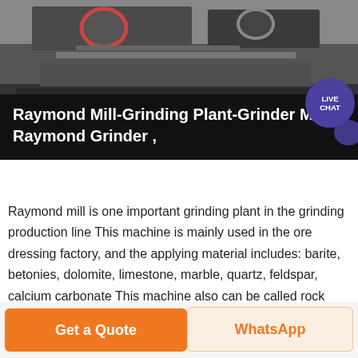[Figure (photo): Industrial machinery / grinding mill equipment photo]
Raymond Mill-Grinding Plant-Grinder Mill-Raymond Grinder ,
Raymond mill is one important grinding plant in the grinding production line This machine is mainly used in the ore dressing factory, and the applying material includes: barite, betonies, dolomite, limestone, marble, quartz, feldspar, calcium carbonate This machine also can be called rock grinder or stone flour mill
Get More
Get a Quote
WhatsApp